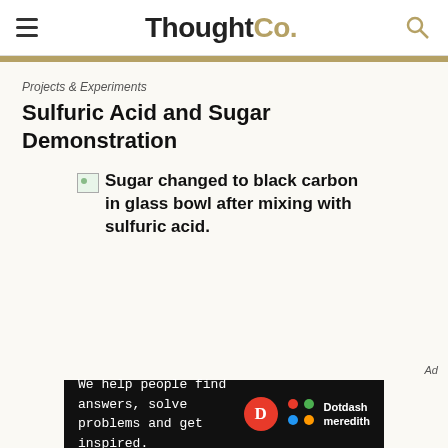ThoughtCo.
Projects & Experiments
Sulfuric Acid and Sugar Demonstration
[Figure (photo): Broken image placeholder with alt text: Sugar changed to black carbon in glass bowl after mixing with sulfuric acid.]
Ad — We help people find answers, solve problems and get inspired. Dotdash meredith